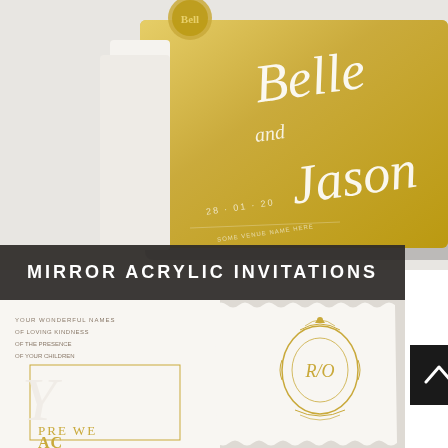[Figure (photo): Close-up photograph of a gold mirror acrylic wedding invitation with elegant white script calligraphy reading 'Belle and Jason' with a date '28-01-20', placed on a white tray with a gold wax seal]
MIRROR ACRYLIC INVITATIONS
[Figure (photo): Close-up photograph of white wedding invitation suite with gold foil monogram crest showing 'R/O' initials on a scalloped card, alongside printed invitation text and 'PRE WE' text visible at bottom]
[Figure (other): Dark back-to-top navigation button with upward chevron arrow]